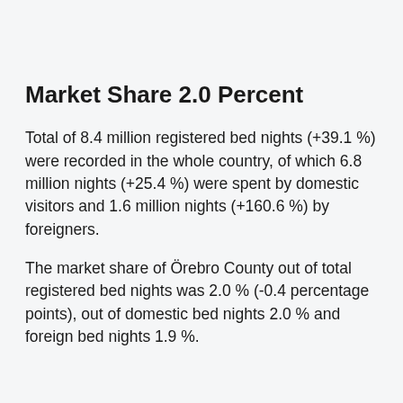Market Share 2.0 Percent
Total of 8.4 million registered bed nights (+39.1 %) were recorded in the whole country, of which 6.8 million nights (+25.4 %) were spent by domestic visitors and 1.6 million nights (+160.6 %) by foreigners.
The market share of Örebro County out of total registered bed nights was 2.0 % (-0.4 percentage points), out of domestic bed nights 2.0 % and foreign bed nights 1.9 %.